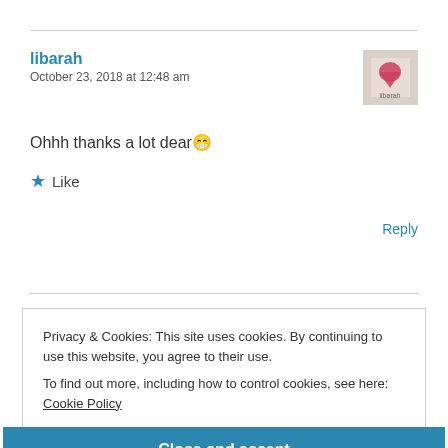libarah
October 23, 2018 at 12:48 am
[Figure (photo): Avatar image of user libarah showing a heart-themed graphic]
Ohhh thanks a lot dear 😀
★ Like
Reply
Privacy & Cookies: This site uses cookies. By continuing to use this website, you agree to their use.
To find out more, including how to control cookies, see here: Cookie Policy
Close and accept